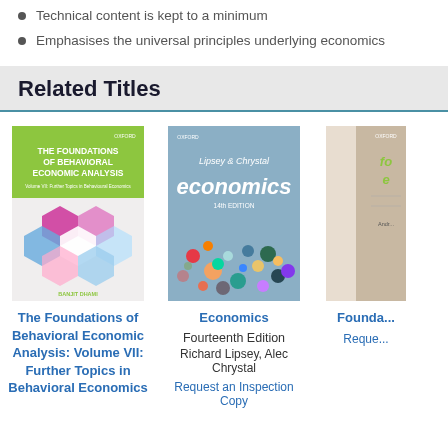Technical content is kept to a minimum
Emphasises the universal principles underlying economics
Related Titles
[Figure (photo): Book cover: The Foundations of Behavioral Economic Analysis by Banjit Dhami, green cover with hexagonal pattern]
The Foundations of Behavioral Economic Analysis: Volume VII: Further Topics in Behavioral Economics
[Figure (photo): Book cover: Lipsey & Chrystal Economics, 14th Edition, blue/grey cover with colorful dots]
Economics
Fourteenth Edition
Richard Lipsey, Alec Chrystal
Request an Inspection Copy
[Figure (photo): Partial book cover, partially cropped on right side]
Founda...
Reque...